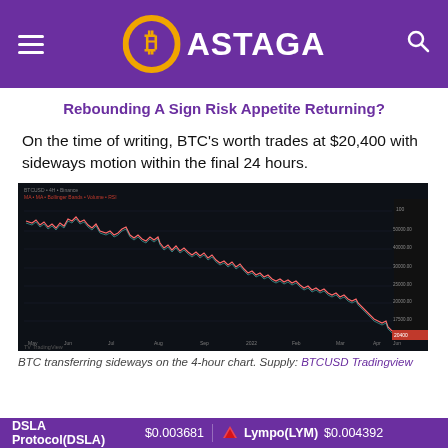BASTAGA
Rebounding A Sign Risk Appetite Returning?
On the time of writing, BTC's worth trades at $20,400 with sideways motion within the final 24 hours.
[Figure (continuous-plot): BTC/USD 4-hour candlestick/line chart on dark background showing a downtrend from high levels down to around $20,400, with sideways movement at the end. The chart is from TradingView and shows BTCUSD price action.]
BTC transferring sideways on the 4-hour chart. Supply: BTCUSD Tradingview
DSLA Protocol(DSLA) $0.003681   Lympo(LYM) $0.004392